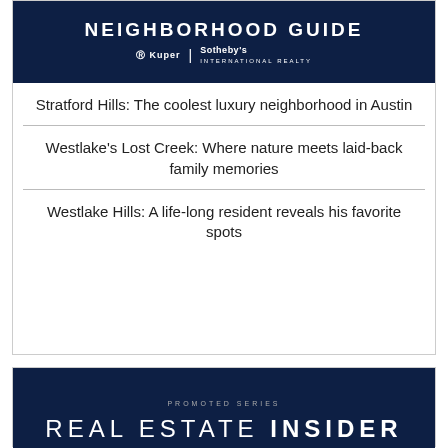[Figure (illustration): Neighborhood Guide banner with dark navy background, large text 'NEIGHBORHOOD GUIDE', and Kuper Sotheby's International Realty logo below]
Stratford Hills: The coolest luxury neighborhood in Austin
Westlake's Lost Creek: Where nature meets laid-back family memories
Westlake Hills: A life-long resident reveals his favorite spots
[Figure (illustration): Real Estate Insider promoted series banner with dark navy background, 'PROMOTED SERIES' text, 'REAL ESTATE INSIDER' large title, and Kuper Sotheby's International Realty logo]
6/27  What to know about building a